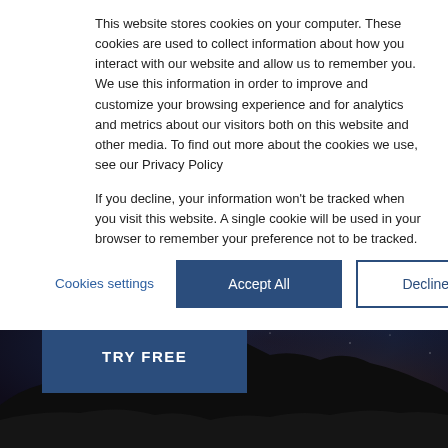This website stores cookies on your computer. These cookies are used to collect information about how you interact with our website and allow us to remember you. We use this information in order to improve and customize your browsing experience and for analytics and metrics about our visitors both on this website and other media. To find out more about the cookies we use, see our Privacy Policy
If you decline, your information won't be tracked when you visit this website. A single cookie will be used in your browser to remember your preference not to be tracked.
Cookies settings
Accept All
Decline All
[Figure (photo): Dark mountainous landscape at night with starry sky background]
TRY FREE